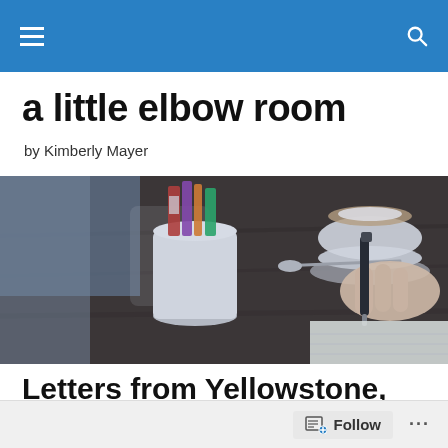Navigation bar with hamburger menu and search icon
a little elbow room
by Kimberly Mayer
[Figure (photo): Coffee shop scene: white cup with sugar packets and pens/pencils, coffee with saucer and spoon, hand holding a black pen over lined paper, dark wood table, muted/desaturated color treatment]
Letters from Yellowstone, Blog Posts from the Salish Sea
Follow  ...